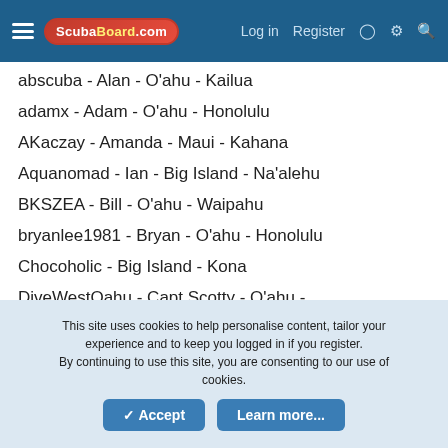ScubaBoard.com — Log in | Register
abscuba - Alan - O'ahu - Kailua
adamx - Adam - O'ahu - Honolulu
AKaczay - Amanda - Maui - Kahana
Aquanomad - Ian - Big Island - Na'alehu
BKSZEA - Bill - O'ahu - Waipahu
bryanlee1981 - Bryan - O'ahu - Honolulu
Chocoholic - Big Island - Kona
DiveWestOahu - Capt Scotty - O'ahu -
grassyknoll - Matt - Big Island - Ocean View
gunslinger808 - Mike - O'ahu -
HawaiianSnowman - Kevin - Big Island - Waikoloa
Hinalo - Jeff - Big Island - Kona
knotical - Sam - Big Island - Ocean View
LeadTurn_SD - Ed - Big Island - Hilo
This site uses cookies to help personalise content, tailor your experience and to keep you logged in if you register. By continuing to use this site, you are consenting to our use of cookies.
Accept | Learn more...